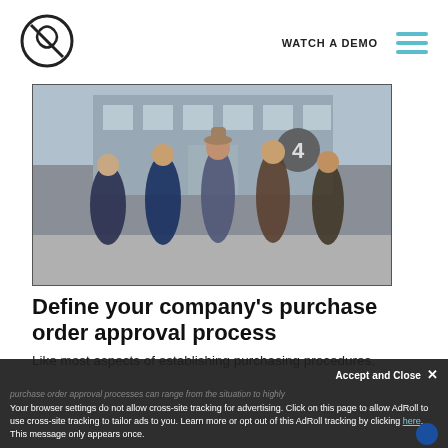WATCH A DEMO [hamburger menu]
[Figure (photo): Group of men in suits dancing or posing on a city street in front of a building with a Channel 4 logo, vintage/retro style photo]
Define your company’s purchase order approval process
Like most aspects of establishing purchasing procedures, purchase order approval processes can range from the situation to highly...
Accept and Close ×
Your browser settings do not allow cross-site tracking for advertising. Click on this page to allow AdRoll to use cross-site tracking to tailor ads to you. Learn more or opt out of this AdRoll tracking by clicking here. This message only appears once.